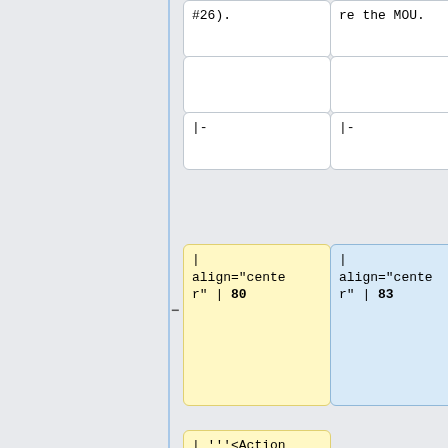#26).
re the MOU.
|-
|-
|
align="center" | 80
|
align="center" | 83
| '''<Action Item>''' | Review meeting dates
|
'''<Owner>:''  | Manny
|
'''<Participants>''' |